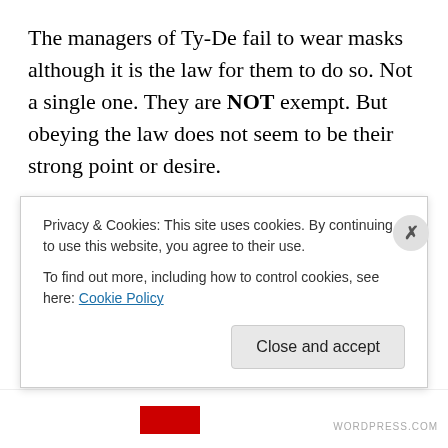The managers of Ty-De fail to wear masks although it is the law for them to do so. Not a single one. They are NOT exempt. But obeying the law does not seem to be their strong point or desire.
Fortunately, the clothes in the dryer were only minutes from being done and I could leave.
She never took her evil eyes off me, nor her fat hand off the bleach jug.
I did leave the smoke-filled room with the finished laundry
Privacy & Cookies: This site uses cookies. By continuing to use this website, you agree to their use.
To find out more, including how to control cookies, see here: Cookie Policy